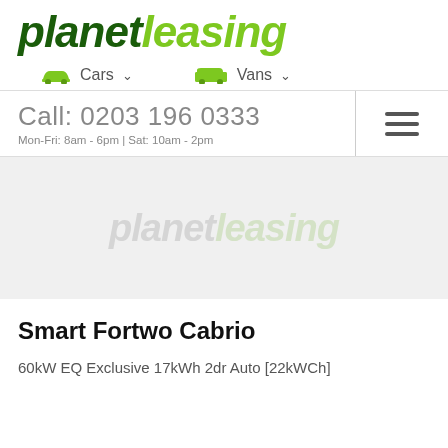[Figure (logo): Planet Leasing logo in dark green and light green italic bold text]
Cars  Vans
Call: 0203 196 0333
Mon-Fri: 8am - 6pm | Sat: 10am - 2pm
[Figure (photo): Car image placeholder with planetleasing watermark on grey background]
Smart Fortwo Cabrio
60kW EQ Exclusive 17kWh 2dr Auto [22kWCh]